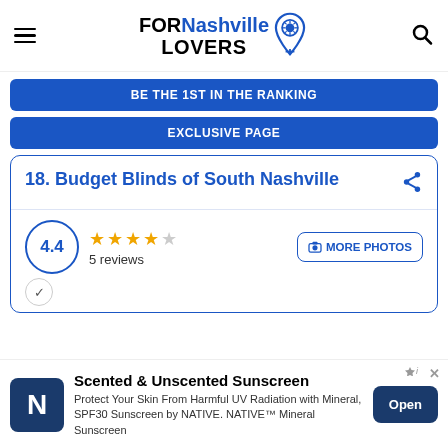FORNashville LOVERS
BE THE 1ST IN THE RANKING
EXCLUSIVE PAGE
18. Budget Blinds of South Nashville
4.4
5 reviews
MORE PHOTOS
[Figure (infographic): Advertisement banner for Native Sunscreen: Scented & Unscented Sunscreen. Protect Your Skin From Harmful UV Radiation with Mineral, SPF30 Sunscreen by NATIVE. NATIVE™ Mineral Sunscreen. Open button.]